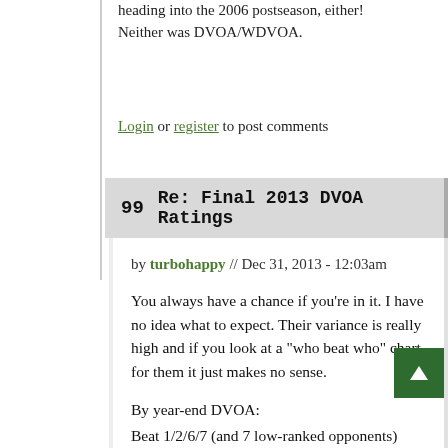heading into the 2006 postseason, either! Neither was DVOA/WDVOA.
Login or register to post comments
99   Re: Final 2013 DVOA Ratings
by turbohappy // Dec 31, 2013 - 12:03am
You always have a chance if you're in it. I have no idea what to expect. Their variance is really high and if you look at a "who beat who" chart for them it just makes no sense.
By year-end DVOA:
Beat 1/2/6/7 (and 7 low-ranked opponents)
Lost 9/10/12/14/23